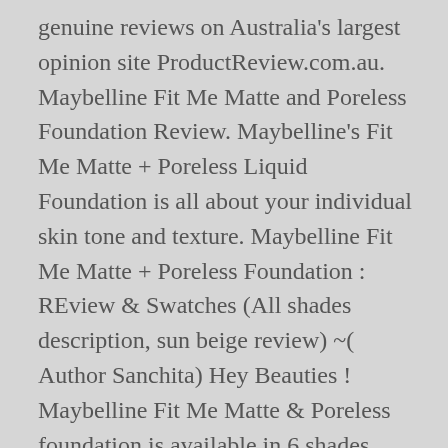genuine reviews on Australia's largest opinion site ProductReview.com.au. Maybelline Fit Me Matte and Poreless Foundation Review. Maybelline's Fit Me Matte + Poreless Liquid Foundation is all about your individual skin tone and texture. Maybelline Fit Me Matte + Poreless Foundation : REview & Swatches (All shades description, sun beige review) ~( Author Sanchita) Hey Beauties ! Maybelline Fit Me Matte & Poreless foundation is available in 6 shades. Ideal for normal to oily skin types, this ultralightweight formula features flexible micro-powders to control shine and blur pores throughout the day. The maybelline fit me matte and poreless foundation is best for